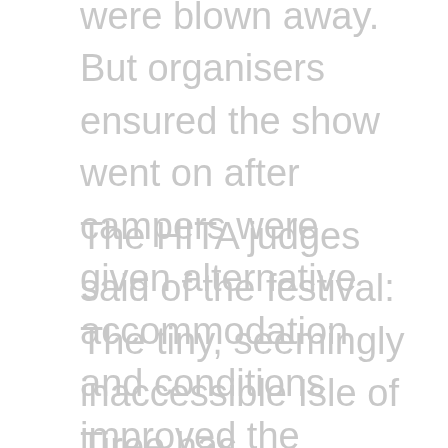were blown away. But organisers ensured the show went on after campers were given alternative accommodation and conditions improved the following day.
The HITA judges said of the festival: The tiny, seemingly inaccessible Isle of Tiree has overcome local constraints to build its annual music festival into an incredible, cultural event which brings economic benefits to the